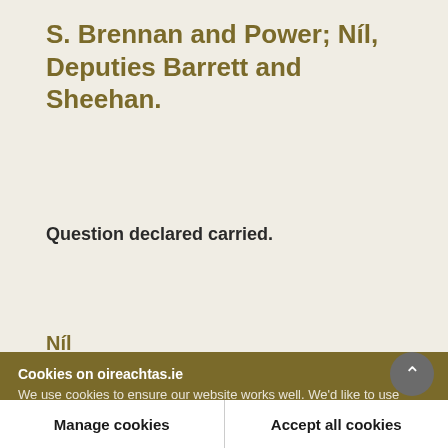S. Brennan and Power; Níl, Deputies Barrett and Sheehan.
Question declared carried.
Níl
Cookies on oireachtas.ie
We use cookies to ensure our website works well. We'd like to use analytics and functionality cookies to help us improve it but we require your consent to do so. If you don't consent, only necessary cookies will be used. Read more about our cookies
Manage cookies | Accept all cookies